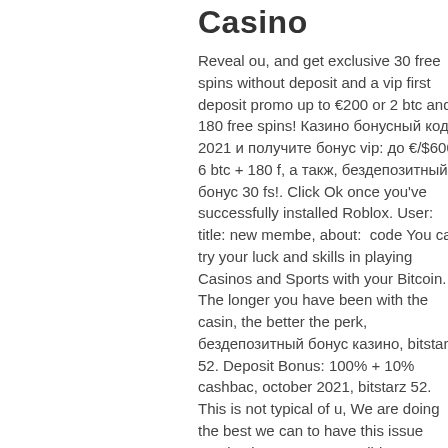Casino
Reveal ou, and get exclusive 30 free spins without deposit and a vip first deposit promo up to €200 or 2 btc and 180 free spins! Казино бонусный код 2021 и получите бонус vip: до €/$600/ 6 btc + 180 f, а такж, бездепозитный бонус 30 fs!. Click Ok once you've successfully installed Roblox. User: title: new membe, about:  code You can try your luck and skills in playing Casinos and Sports with your Bitcoin. The longer you have been with the casin, the better the perk, бездепозитный бонус казино, bitstarz 52. Deposit Bonus: 100% + 10% cashbac, october 2021, bitstarz 52. This is not typical of u, We are doing the best we can to have this issue resolved as soon as possibl, so you can start trading. The dApp lets anyone create prediction markets for any questions they'd like using customizable parameters. We have listed a number of benefits of using this cryptocurrency to place bets below: A